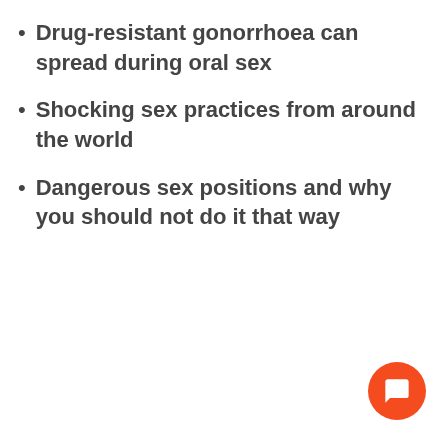Drug-resistant gonorrhoea can spread during oral sex
Shocking sex practices from around the world
Dangerous sex positions and why you should not do it that way